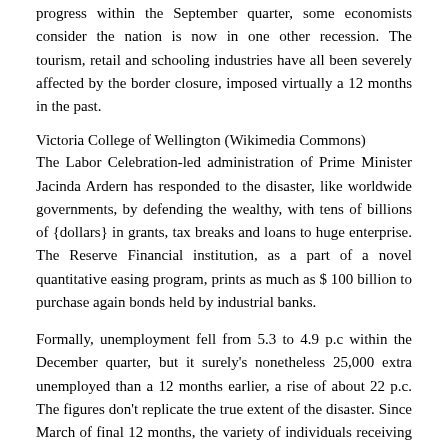progress within the September quarter, some economists consider the nation is now in one other recession. The tourism, retail and schooling industries have all been severely affected by the border closure, imposed virtually a 12 months in the past.
Victoria College of Wellington (Wikimedia Commons)
The Labor Celebration-led administration of Prime Minister Jacinda Ardern has responded to the disaster, like worldwide governments, by defending the wealthy, with tens of billions of {dollars} in grants, tax breaks and loans to huge enterprise. The Reserve Financial institution, as a part of a novel quantitative easing program, prints as much as $ 100 billion to purchase again bonds held by industrial banks.
Formally, unemployment fell from 5.3 to 4.9 p.c within the December quarter, but it surely's nonetheless 25,000 extra unemployed than a 12 months earlier, a rise of about 22 p.c. The figures don't replicate the true extent of the disaster. Since March of final 12 months, the variety of individuals receiving the primary social help profit to job seekers has elevated by 63,000. The underutilization charge, together with those that are usually not actively in search of work and staff who need extra hours, is 11.9%.